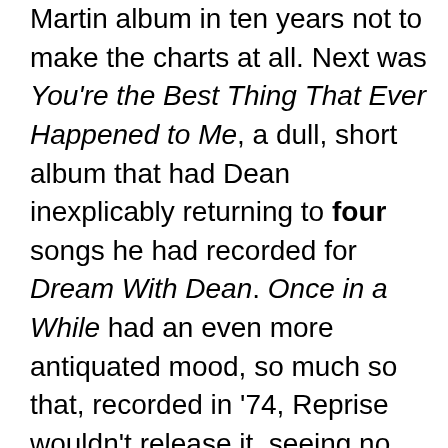Martin album in ten years not to make the charts at all. Next was You're the Best Thing That Ever Happened to Me, a dull, short album that had Dean inexplicably returning to four songs he had recorded for Dream With Dean. Once in a While had an even more antiquated mood, so much so that, recorded in '74, Reprise wouldn't release it, seeing no market for it. Four years later, the recordings were sweetened to make them more palatable to audiences in the late Seventies but it was for naught. Once in a While was the last album I needed to complete my Dean Martin album collection. It proved hard to find and it became one of the few records I've ever bought